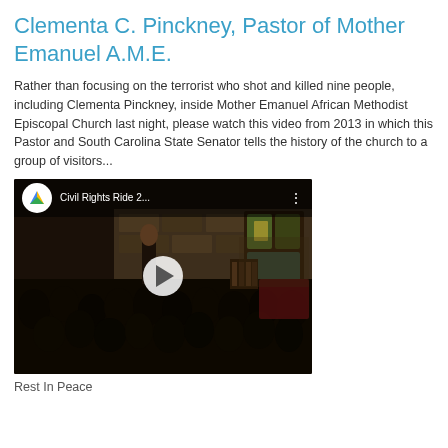Clementa C. Pinckney, Pastor of Mother Emanuel A.M.E.
Rather than focusing on the terrorist who shot and killed nine people, including Clementa Pinckney, inside Mother Emanuel African Methodist Episcopal Church last night, please watch this video from 2013 in which this Pastor and South Carolina State Senator tells the history of the church to a group of visitors...
[Figure (screenshot): YouTube video thumbnail showing Civil Rights Ride 2... with a play button in the center. The scene depicts a church interior with a speaker at the front and audience members seated, facing forward. A YouTube logo appears in the top-left corner of the video player overlay.]
Rest In Peace